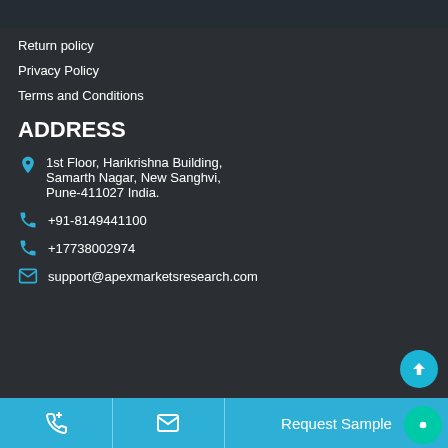Return policy
Privacy Policy
Terms and Conditions
ADDRESS
1st Floor, Harikrishna Building, Samarth Nagar, New Sanghvi, Pune-411027 India.
+91-8149441100
+17738002974
support@apexmarketsresearch.com
Request Sample